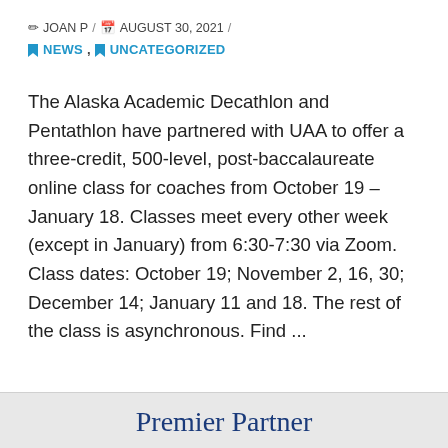✏ JOAN P / 📅 AUGUST 30, 2021 / 🔖 NEWS, 🔖 UNCATEGORIZED
The Alaska Academic Decathlon and Pentathlon have partnered with UAA to offer a three-credit, 500-level, post-baccalaureate online class for coaches from October 19 – January 18. Classes meet every other week (except in January) from 6:30-7:30 via Zoom. Class dates: October 19; November 2, 16, 30; December 14; January 11 and 18. The rest of the class is asynchronous. Find ...
Read More
Premier Partner